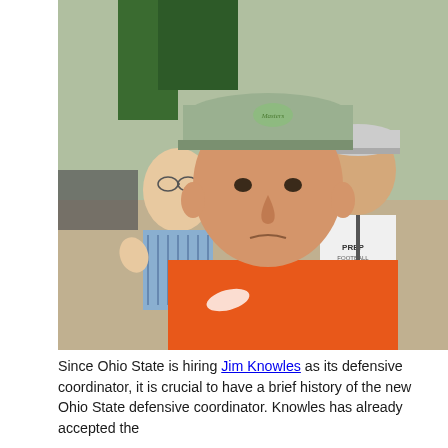[Figure (photo): A selfie photo of a man in an orange Oklahoma State Cowboys polo shirt and a grey Masters golf hat, with two other men visible in the background — one older man in a blue striped shirt waving, and another in a white 'PREP Football' shirt wearing a Titleist hat.]
Since Ohio State is hiring Jim Knowles as its defensive coordinator, it is crucial to have a brief history of the new Ohio State defensive coordinator. Knowles has already accepted the